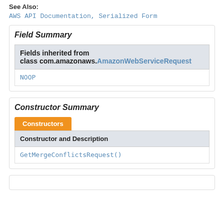See Also:
AWS API Documentation, Serialized Form
Field Summary
| Fields inherited from class com.amazonaws.AmazonWebServiceRequest |
| --- |
| NOOP |
Constructor Summary
| Constructor and Description |
| --- |
| GetMergeConflictsRequest() |